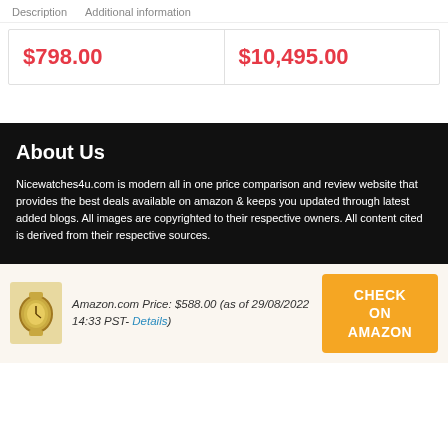Description   Additional information
| $798.00 | $10,495.00 |
About Us
Nicewatches4u.com is modern all in one price comparison and review website that provides the best deals available on amazon & keeps you updated through latest added blogs. All images are copyrighted to their respective owners. All content cited is derived from their respective sources.
Amazon.com Price: $588.00 (as of 29/08/2022 14:33 PST- Details)